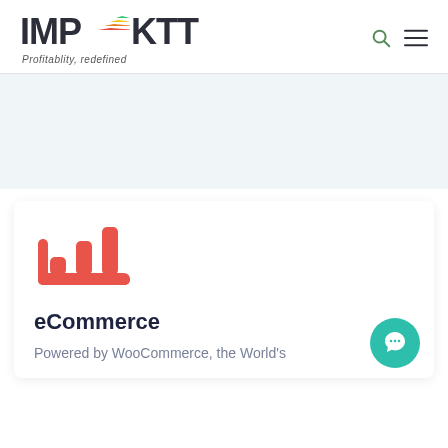IMPAKTT — Profitablity, redefined
[Figure (illustration): Light blue banner/advertisement area below the header navigation]
[Figure (illustration): eCommerce bar chart icon in coral/salmon color showing rising bars in a rounded rectangle frame]
eCommerce
Powered by WooCommerce, the World's